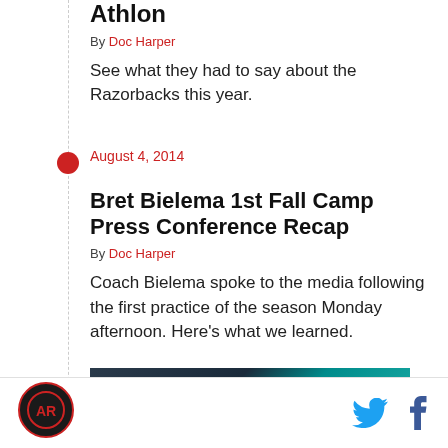Athlon
By Doc Harper
See what they had to say about the Razorbacks this year.
August 4, 2014
Bret Bielema 1st Fall Camp Press Conference Recap
By Doc Harper
Coach Bielema spoke to the media following the first practice of the season Monday afternoon. Here's what we learned.
[Figure (photo): Dark photo of a person, partially visible, with teal/dark background]
Footer with logo and Twitter/Facebook social icons